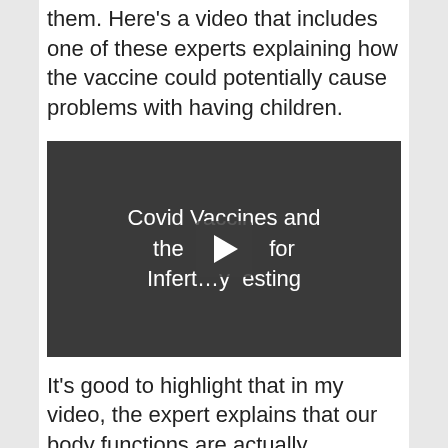them. Here's a video that includes one of these experts explaining how the vaccine could potentially cause problems with having children.
[Figure (screenshot): Video thumbnail with dark background showing title text 'Covid Vaccines and the [play button] for Infertility Testing' with a play button in the center]
It's good to highlight that in my video, the expert explains that our body functions are actually dependent on certain viruses. In other words, not all viruses are